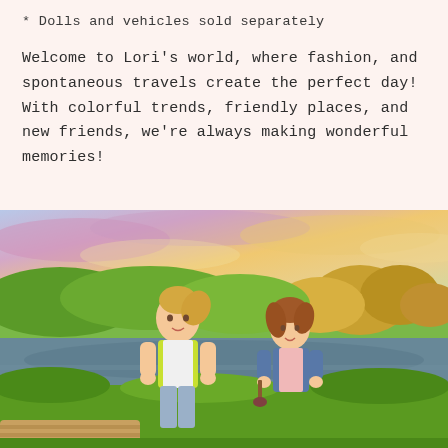* Dolls and vehicles sold separately
Welcome to Lori's world, where fashion, and spontaneous travels create the perfect day! With colorful trends, friendly places, and new friends, we're always making wonderful memories!
[Figure (photo): Two Lori dolls posed outdoors in front of a scenic lake and autumn foliage background with colorful sunset sky. The left doll has blonde hair in a ponytail wearing a yellow-green vest over white shirt with grey jeans. The right doll has auburn hair wearing a denim jacket over a pink shirt.]